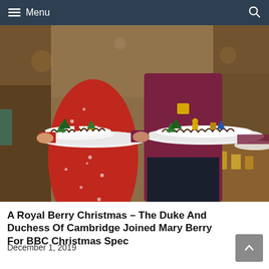Menu
[Figure (photo): Two people standing side by side holding white platters with Christmas Yule log cakes decorated with miniature Christmas trees, Santa figures, and reindeer decorations. The person on the left wears a red floral dress, the person on the right wears a dark maroon/burgundy sweater and dark trousers. Background shows a warmly lit room.]
A Royal Berry Christmas – The Duke And Duchess Of Cambridge Joined Mary Berry For BBC Christmas Spec
December 1, 2019